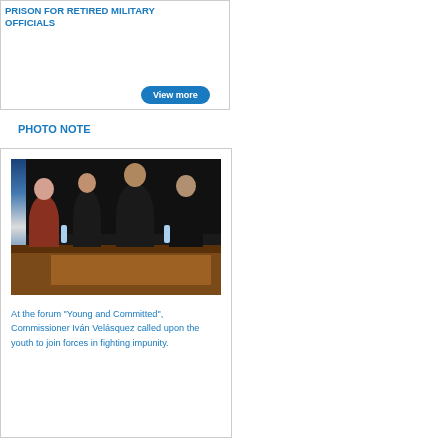PRISON FOR RETIRED MILITARY OFFICIALS
PHOTO NOTE
[Figure (photo): Panel of four people seated at a conference table with a UN flag in the background, dark curtain behind them, at the forum 'Young and Committed']
At the forum "Young and Committed", Commissioner Iván Velásquez called upon the youth to join forces in fighting impunity.